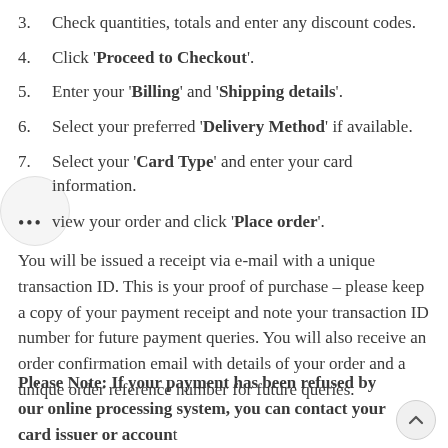3. Check quantities, totals and enter any discount codes.
4. Click 'Proceed to Checkout'.
5. Enter your 'Billing' and 'Shipping details'.
6. Select your preferred 'Delivery Method' if available.
7. Select your 'Card Type' and enter your card information.
... view your order and click 'Place order'.
You will be issued a receipt via e-mail with a unique transaction ID. This is your proof of purchase – please keep a copy of your payment receipt and note your transaction ID number for future payment queries. You will also receive an order confirmation email with details of your order and a unique order reference number for future queries.
Please Note: If your payment has been refused by our online processing system, you can contact your card issuer or account handler to authorise the payment. Common reasons for payments